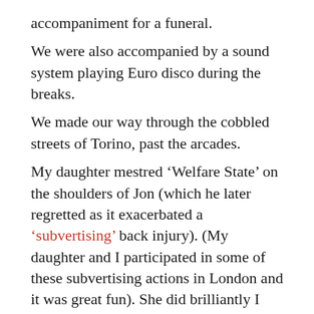accompaniment for a funeral.
We were also accompanied by a sound system playing Euro disco during the breaks.
We made our way through the cobbled streets of Torino, past the arcades.
My daughter mestred ‘Welfare State’ on the shoulders of Jon (which he later regretted as it exacerbated a ‘subvertising’ back injury). (My daughter and I participated in some of these subvertising actions in London and it was great fun). She did brilliantly I must say (even though I am her mother).
At one point my kid and I did escape to a cosy carved wood ice-cream parlour where she ordered chocolate ice-cream and I tried turron and yoghurt.